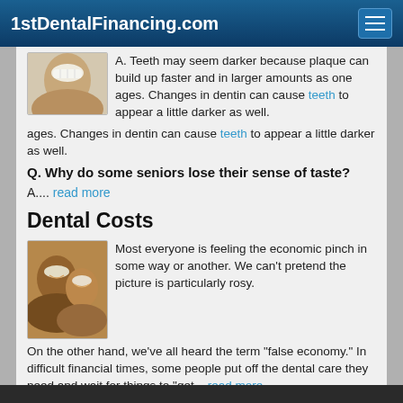1stDentalFinancing.com
[Figure (photo): Partial photo of a person smiling, showing teeth]
A. Teeth may seem darker because plaque can build up faster and in larger amounts as one ages. Changes in dentin can cause teeth to appear a little darker as well.
Q. Why do some seniors lose their sense of taste?
A.... read more
Dental Costs
[Figure (photo): Photo of an older man and a young girl smiling together]
Most everyone is feeling the economic pinch in some way or another. We can't pretend the picture is particularly rosy.

On the other hand, we've all heard the term "false economy." In difficult financial times, some people put off the dental care they need and wait for things to "get... read more